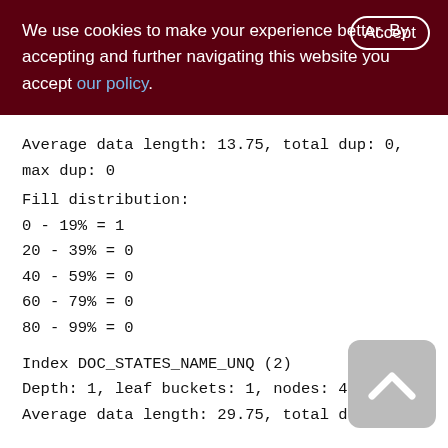We use cookies to make your experience better. By accepting and further navigating this website you accept our policy.
Average data length: 13.75, total dup: 0,
max dup: 0
Fill distribution:
0 - 19% = 1
20 - 39% = 0
40 - 59% = 0
60 - 79% = 0
80 - 99% = 0
Index DOC_STATES_NAME_UNQ (2)
Depth: 1, leaf buckets: 1, nodes: 4
Average data length: 29.75, total dup: 0,